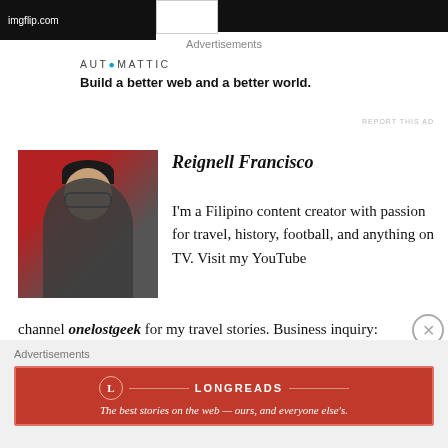[Figure (screenshot): Top banner with imgflip.com logo on dark background]
Advertisements
[Figure (logo): AUTOMATTIC logo with tagline: Build a better web and a better world.]
REPORT THIS AD
[Figure (photo): Photo of Reignell Francisco, a young Filipino man with glasses smiling, with a red car in the background]
Reignell Francisco
I'm a Filipino content creator with passion for travel, history, football, and anything on TV. Visit my YouTube channel onelostgeek for my travel stories. Business inquiry: geekgodreview@yahoo.com
Advertisements
[Figure (screenshot): Longreads advertisement banner in red: The best stories on the web — ours, and everyone else's.]